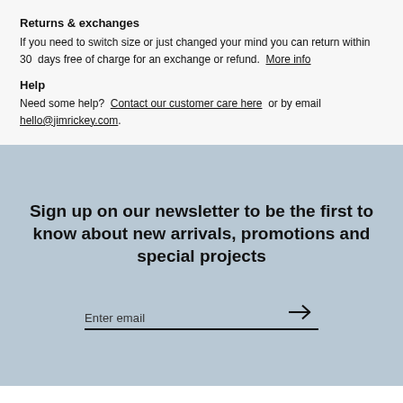Returns & exchanges
If you need to switch size or just changed your mind you can return within 30 days free of charge for an exchange or refund. More info
Help
Need some help? Contact our customer care here or by email hello@jimrickey.com.
Sign up on our newsletter to be the first to know about new arrivals, promotions and special projects
Enter email